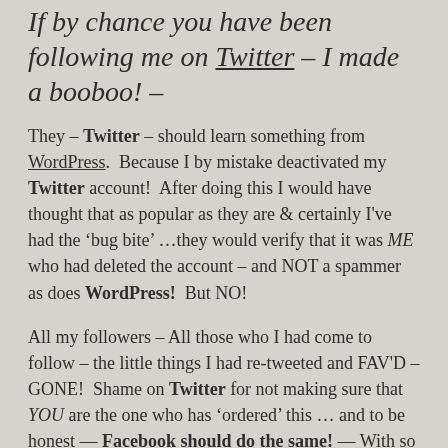If by chance you have been following me on Twitter – I made a booboo! –
They – Twitter – should learn something from WordPress.  Because I by mistake deactivated my Twitter account!  After doing this I would have thought that as popular as they are & certainly I've had the 'bug bite' …they would verify that it was ME who had deleted the account – and NOT a spammer as does WordPress!  But NO!
All my followers – All those who I had come to follow – the little things I had re-tweeted and FAV'D – GONE!  Shame on Twitter for not making sure that YOU are the one who has 'ordered' this … and to be honest — Facebook should do the same! —  With so many hackers – spammers out